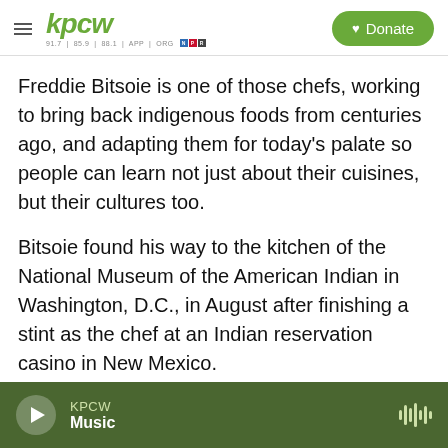kpcw | Donate
Freddie Bitsoie is one of those chefs, working to bring back indigenous foods from centuries ago, and adapting them for today's palate so people can learn not just about their cuisines, but their cultures too.
Bitsoie found his way to the kitchen of the National Museum of the American Indian in Washington, D.C., in August after finishing a stint as the chef at an Indian reservation casino in New Mexico.
NPR met up with Bitsoie in the museum's bustling basement kitchen.
KPCW | Music